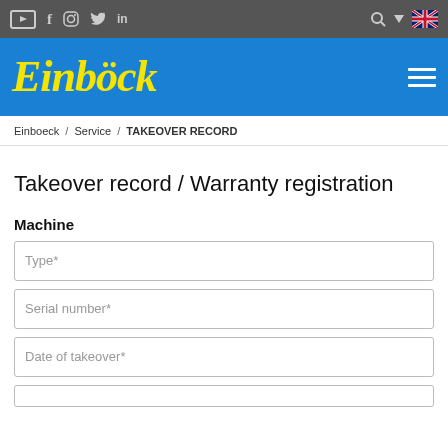Einboeck navigation bar with social media icons, search, and language selector
[Figure (logo): Einböck company logo in yellow italic script on blue background]
Einboeck / Service / TAKEOVER RECORD
Takeover record / Warranty registration
Machine
Type*
Serial number*
Date of takeover*